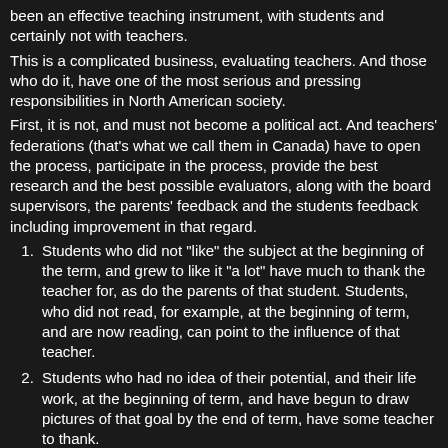been an effective teaching instrument, with students and certainly not with teachers.
This is a complicated business, evaluating teachers. And those who do it, have one of the most serious and pressing responsibilities in North American society.
First, it is not, and must not become a political act. And teachers' federations (that's what we call them in Canada) have to open the process, participate in the process, provide the best research and the best possible evaluators, along with the board supervisors, the parents' feedback and the students feedback including improvement in that regard.
Students who did not "like" the subject at the beginning of the term, and grew to like it "a lot" have much to thank the teacher for, as do the parents of that student. Students, who did not read, for example, at the beginning of term, and are now reading, can point to the influence of that teacher.
Students who had no idea of their potential, and their life work, at the beginning of term, and have begun to draw pictures of that goal by the end of term, have some teacher to thank.